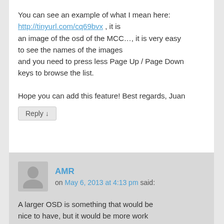You can see an example of what I mean here: http://tinyurl.com/cq69bvx , it is an image of the osd of the MCC…, it is very easy to see the names of the images and you need to press less Page Up / Page Down keys to browse the list.
Hope you can add this feature! Best regards, Juan
Reply ↓
AMR
on May 6, 2013 at 4:13 pm said:
A larger OSD is something that would be nice to have, but it would be more work than I can take on immediately.
It would require, among other things, changing the SPI protocol used between